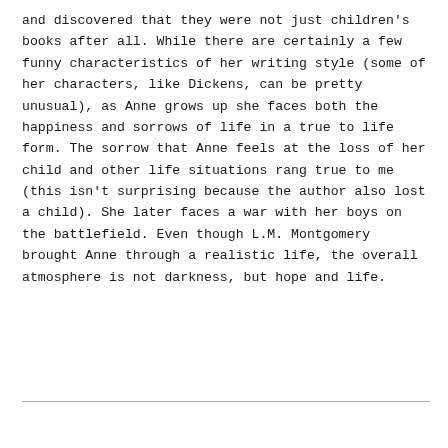and discovered that they were not just children's books after all. While there are certainly a few funny characteristics of her writing style (some of her characters, like Dickens, can be pretty unusual), as Anne grows up she faces both the happiness and sorrows of life in a true to life form. The sorrow that Anne feels at the loss of her child and other life situations rang true to me (this isn't surprising because the author also lost a child). She later faces a war with her boys on the battlefield. Even though L.M. Montgomery brought Anne through a realistic life, the overall atmosphere is not darkness, but hope and life.